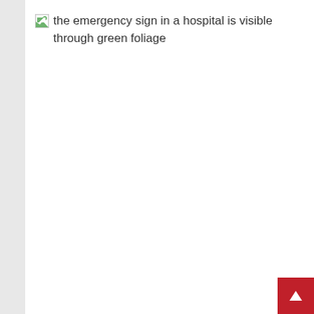[Figure (photo): Broken image placeholder showing alt text: 'the emergency sign in a hospital is visible through green foliage']
Three people who are positive about COVID as part of the local cluster are at Royal Darwin Hospital.(ABC News: Che Chorley)
Ms Fyles said three COVID patients from the NT outbreak were currently being treated at the